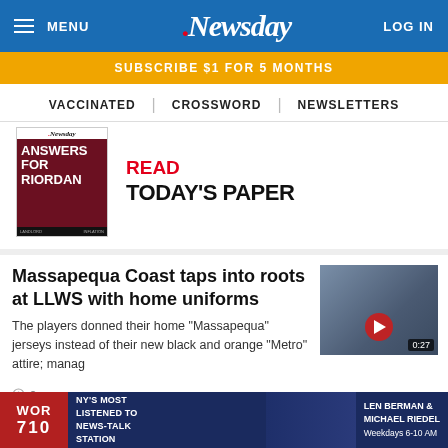MENU | Newsday | LOG IN
SUBSCRIBE $1 FOR 5 MONTHS
VACCINATED | CROSSWORD | NEWSLETTERS
[Figure (screenshot): Newsday front page thumbnail showing 'ANSWERS FOR RIORDAN' headline]
READ TODAY'S PAPER
Massapequa Coast taps into roots at LLWS with home uniforms
The players donned their home "Massapequa" jerseys instead of their new black and orange "Metro" attire; manag...
[Figure (screenshot): Video thumbnail of baseball team with play button and 0:27 duration]
2m
[Figure (screenshot): WOR 710 NY's Most Listened To News-Talk Station ad with Len Berman & Michael Riedel, Weekdays 6-10 AM]